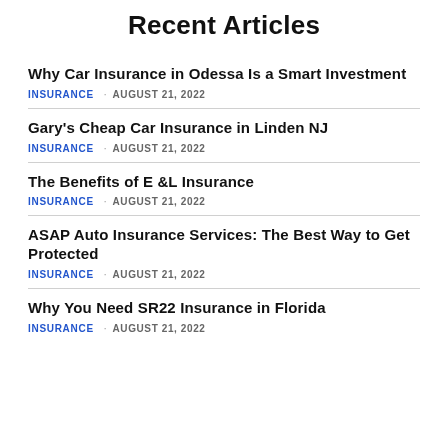Recent Articles
Why Car Insurance in Odessa Is a Smart Investment
INSURANCE  AUGUST 21, 2022
Gary's Cheap Car Insurance in Linden NJ
INSURANCE  AUGUST 21, 2022
The Benefits of E &L Insurance
INSURANCE  AUGUST 21, 2022
ASAP Auto Insurance Services: The Best Way to Get Protected
INSURANCE  AUGUST 21, 2022
Why You Need SR22 Insurance in Florida
INSURANCE  AUGUST 21, 2022